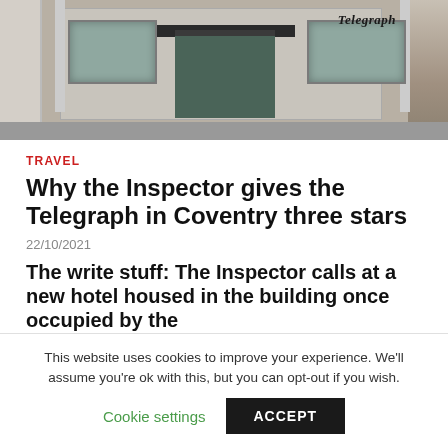[Figure (photo): Exterior photo of a building with 'Telegraph' signage visible on the right side, showing a modernist facade with green entrance doors and street-level view]
TRAVEL
Why the Inspector gives the Telegraph in Coventry three stars
22/10/2021
The write stuff: The Inspector calls at a new hotel housed in the building once occupied by the Coventry Telegraph, and with
This website uses cookies to improve your experience. We'll assume you're ok with this, but you can opt-out if you wish. Cookie settings ACCEPT